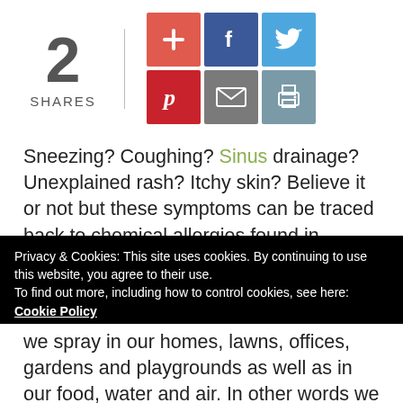2 SHARES
[Figure (infographic): Social share buttons: Google+, Facebook, Twitter, Pinterest, Email, Print]
Sneezing? Coughing? Sinus drainage? Unexplained rash? Itchy skin?  Believe it or not but these symptoms can be traced back to chemical allergies found in everyday household cleaning products.  Unfortunately, most people and even medical professionals associate these symptoms with seasonal changes in plants, trees, pollen, etc. instead of we spray in our homes, lawns, offices, gardens and playgrounds as well as in our food, water and air. In other words we walk in a chemical soup mix.
Privacy & Cookies: This site uses cookies. By continuing to use this website, you agree to their use.
To find out more, including how to control cookies, see here: Cookie Policy
Close and accept